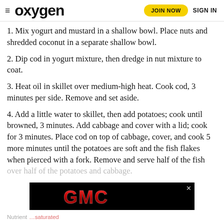≡ oxygen | JOIN NOW | SIGN IN
1. Mix yogurt and mustard in a shallow bowl. Place nuts and shredded coconut in a separate shallow bowl.
2. Dip cod in yogurt mixture, then dredge in nut mixture to coat.
3. Heat oil in skillet over medium-high heat. Cook cod, 3 minutes per side. Remove and set aside.
4. Add a little water to skillet, then add potatoes; cook until browned, 3 minutes. Add cabbage and cover with a lid; cook for 3 minutes. Place cod on top of cabbage, cover, and cook 5 more minutes until the potatoes are soft and the fish flakes when pierced with a fork. Remove and serve half of the fish over half of the potatoes and cabbage.
[Figure (logo): GMC logo advertisement banner on black background]
Nutrient … saturated